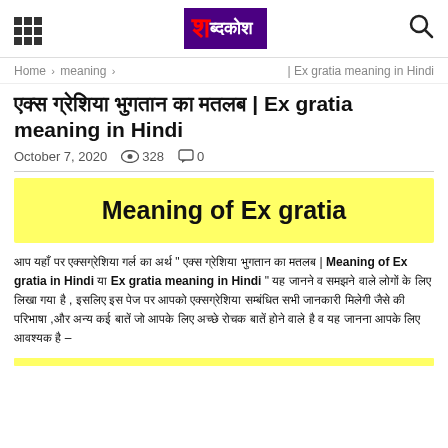शब्दकोश (Shabdkosh logo)
Home › meaning › | Ex gratia meaning in Hindi
एक्स ग्रेशिया भुगतान का मतलब | Ex gratia meaning in Hindi
October 7, 2020   👁 328   💬 0
[Figure (infographic): Yellow banner with bold text 'Meaning of Ex gratia']
आप यहाँ पर एक्सग्रेशिया गर्ल का अर्थ " एक्स ग्रेशिया भुगतान का मतलब | Meaning of Ex gratia in Hindi या Ex gratia meaning in Hindi " यह जानने व समझने वाले लोगों के लिए लिखा गया है , इसलिए इस पेज पर आपको एक्सग्रेशिया सम्बंधित सभी जानकारी मिलेगी जैसे की परिभाषा ,और अन्य कई बातें जो आपके लिए अच्छे रोचक बातें होने वाले है व यह जानना आपके लिए आवश्यक है –